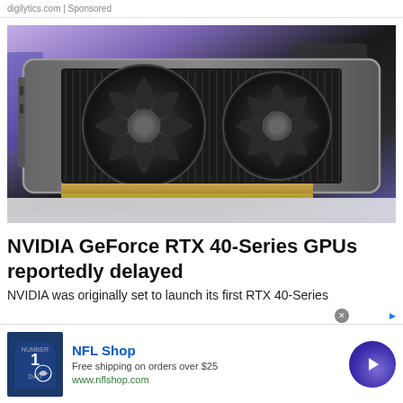digilytics.com | Sponsored
[Figure (photo): NVIDIA GeForce RTX GPU (dual-fan graphics card) photographed on a white surface with purple/blue background lighting]
NVIDIA GeForce RTX 40-Series GPUs reportedly delayed
NVIDIA was originally set to launch its first RTX 40-Series
[Figure (other): NFL Shop advertisement banner: image of Dallas Cowboys #1 DAD jersey, text 'NFL Shop', 'Free shipping on orders over $25', 'www.nflshop.com', with a purple circular call-to-action arrow button]